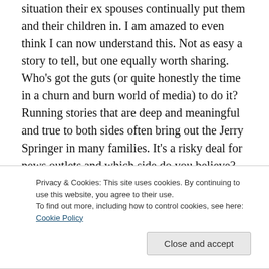situation their ex spouses continually put them and their children in. I am amazed to even think I can now understand this. Not as easy a story to tell, but one equally worth sharing. Who's got the guts (or quite honestly the time in a churn and burn world of media) to do it? Running stories that are deep and meaningful and true to both sides often bring out the Jerry Springer in many families. It's a risky deal for news outlets and which side do you believe? Why perhaps the flip-side or even the front side often don't get told. Stick to the facts of who hasn't paid up
Privacy & Cookies: This site uses cookies. By continuing to use this website, you agree to their use.
To find out more, including how to control cookies, see here: Cookie Policy